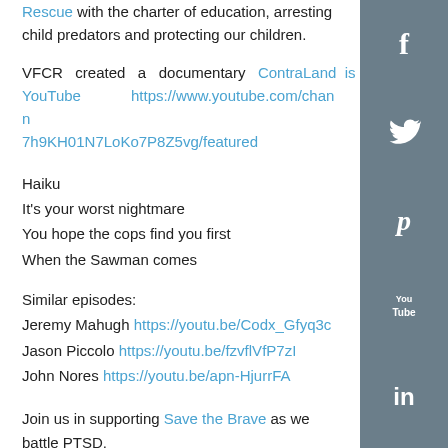Rescue with the charter of education, arresting child predators and protecting our children.
VFCR created a documentary ContraLand is available on YouTube https://www.youtube.com/channel/7h9KH01N7LoKo7P8Z5vg/featured
Haiku
It's your worst nightmare
You hope the cops find you first
When the Sawman comes
Similar episodes:
Jeremy Mahugh https://youtu.be/Codx_Gfyq3c
Jason Piccolo https://youtu.be/fzvflVfP7zI
John Nores https://youtu.be/apn-HjurrFA
Join us in supporting Save the Brave as we battle PTSD.
Executive Producer: Pete A. Turner https://youtu.be/mYoUxRJzXcA
Producer: Damian Giorgioy